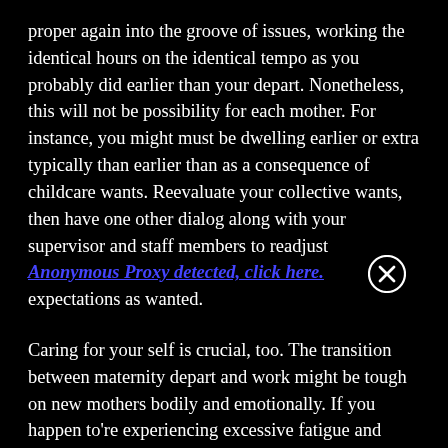proper again into the groove of issues, working the identical hours on the identical tempo as you probably did earlier than your depart. Nonetheless, this will not be possibility for each mother. For instance, you might must be dwelling earlier or extra typically than earlier than as a consequence of childcare wants. Reevaluate your collective wants, then have one other dialog along with your supervisor and staff members to readjust expectations as wanted.
Caring for your self is crucial, too. The transition between maternity depart and work might be tough on new mothers bodily and emotionally. If you happen to're experiencing excessive fatigue and afternoon slumps, think about taking breaks to go exterior, nap, or train, which may all show you how to regain your vitality. Don't be afraid to take psychological well being days when